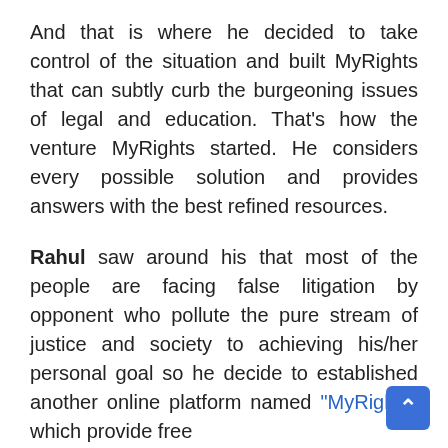And that is where he decided to take control of the situation and built MyRights that can subtly curb the burgeoning issues of legal and education. That's how the venture MyRights started. He considers every possible solution and provides answers with the best refined resources.
Rahul saw around his that most of the people are facing false litigation by opponent who pollute the pure stream of justice and society to achieving his/her personal goal so he decide to established another online platform named "MyRights" which provide free